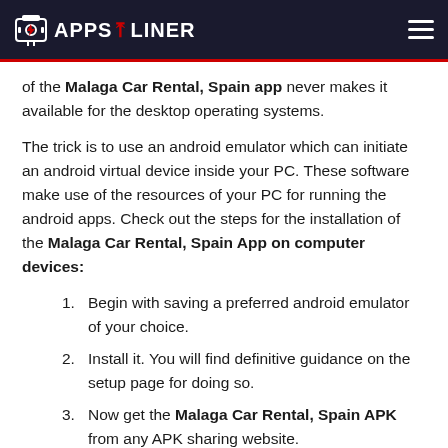APPS LINER
of the Malaga Car Rental, Spain app never makes it available for the desktop operating systems.
The trick is to use an android emulator which can initiate an android virtual device inside your PC. These software make use of the resources of your PC for running the android apps. Check out the steps for the installation of the Malaga Car Rental, Spain App on computer devices:
Begin with saving a preferred android emulator of your choice.
Install it. You will find definitive guidance on the setup page for doing so.
Now get the Malaga Car Rental, Spain APK from any APK sharing website.